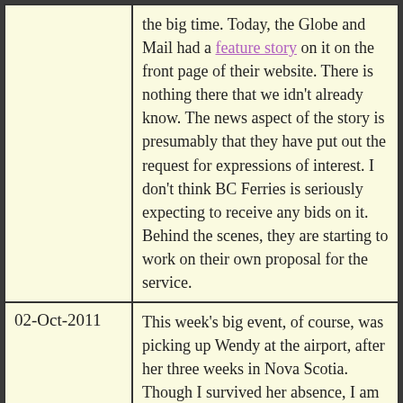the big time. Today, the Globe and Mail had a feature story on it on the front page of their website. There is nothing there that we idn't already know. The news aspect of the story is presumably that they have put out the request for expressions of interest. I don't think BC Ferries is seriously expecting to receive any bids on it. Behind the scenes, they are starting to work on their own proposal for the service.
02-Oct-2011
This week's big event, of course, was picking up Wendy at the airport, after her three weeks in Nova Scotia. Though I survived her absence, I am very glad that she is home. Fortunately, she feels the same way. She had a good visit with her parents, though.

Last Sunday's major rainfall was followed on Monday by a major wind storm. As is common in wind storms, the power failed mid-morning. Since I had to run errands in the afternoon and then pick up Wendy at the airport, I decided to go into town early, in case I ran into traffic problems from failed